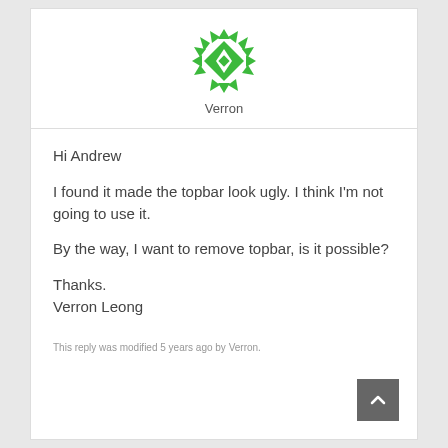[Figure (logo): Green geometric star/snowflake logo icon for user Verron]
Verron
Hi Andrew

I found it made the topbar look ugly. I think I'm not going to use it.

By the way, I want to remove topbar, is it possible?

Thanks.
Verron Leong
This reply was modified 5 years ago by Verron.